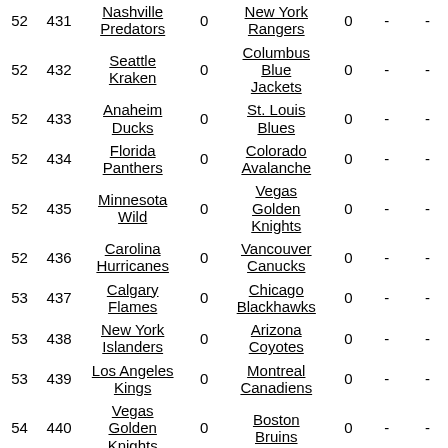|  |  | Team 1 |  | Team 2 |  | - | - |
| --- | --- | --- | --- | --- | --- | --- | --- |
| 52 | 431 | Nashville Predators | 0 | New York Rangers | 0 | - | - |
| 52 | 432 | Seattle Kraken | 0 | Columbus Blue Jackets | 0 | - | - |
| 52 | 433 | Anaheim Ducks | 0 | St. Louis Blues | 0 | - | - |
| 52 | 434 | Florida Panthers | 0 | Colorado Avalanche | 0 | - | - |
| 52 | 435 | Minnesota Wild | 0 | Vegas Golden Knights | 0 | - | - |
| 52 | 436 | Carolina Hurricanes | 0 | Vancouver Canucks | 0 | - | - |
| 53 | 437 | Calgary Flames | 0 | Chicago Blackhawks | 0 | - | - |
| 53 | 438 | New York Islanders | 0 | Arizona Coyotes | 0 | - | - |
| 53 | 439 | Los Angeles Kings | 0 | Montreal Canadiens | 0 | - | - |
| 54 | 440 | Vegas Golden Knights | 0 | Boston Bruins | 0 | - | - |
| 54 | 441 | Los Angeles | 0 | Tampa Bay | 0 | - | - |